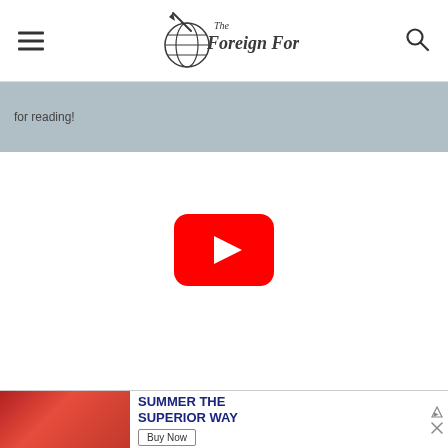The Foreign Fork
for reading!
[Figure (screenshot): YouTube video player placeholder with red play button on white background]
[Figure (screenshot): Advertisement banner: person at outdoor table with bottles, text reading SUMMER THE SUPERIOR WAY with Buy Now button]